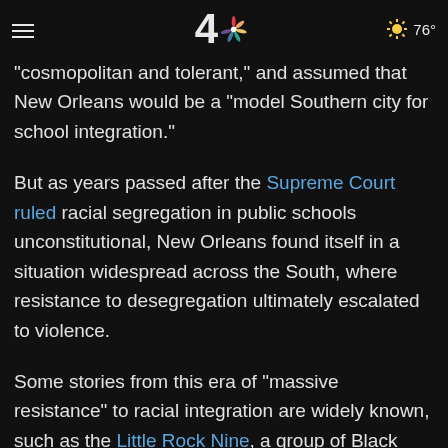NBC4 news header with hamburger menu, channel 4 logo with NBC peacock, and weather showing 76°
in the city. According to published reports, New Orleans residents viewed themselves and the city as “cosmopolitan and tolerant,” and assumed that New Orleans would be a “model Southern city for school integration.”
But as years passed after the Supreme Court ruled racial segregation in public schools unconstitutional, New Orleans found itself in a situation widespread across the South, where resistance to desegregation ultimately escalated to violence.
Some stories from this era of “massive resistance” to racial integration are widely known, such as the Little Rock Nine, a group of Black students blocked from entering Little Rock Central High School when Gov. Orval Faubus called out the Arkansas National Guard; the violent riots at